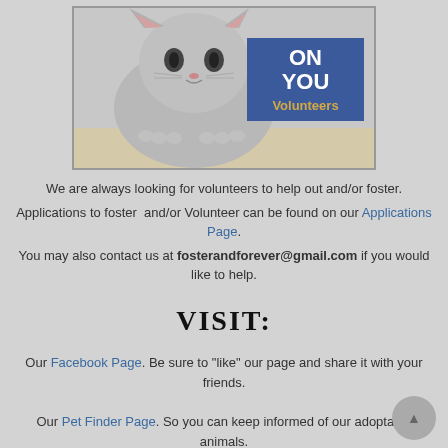[Figure (photo): A kitten sitting with paws on a ledge, next to a blue banner reading ON YOU Volunteers]
We are always looking for volunteers to help out and/or foster. Applications to foster and/or Volunteer can be found on our Applications Page. You may also contact us at fosterandforever@gmail.com if you would like to help.
VISIT:
Our Facebook Page. Be sure to "like" our page and share it with your friends.
Our Pet Finder Page. So you can keep informed of our adoptable animals.